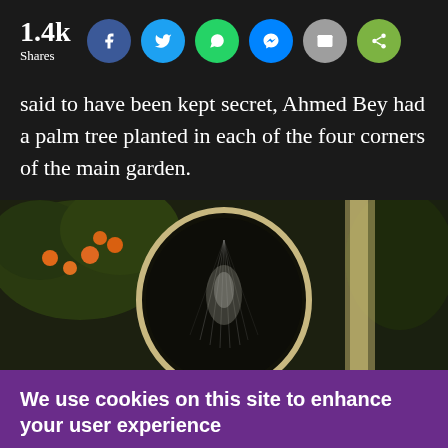1.4k Shares
said to have been kept secret, Ahmed Bey had a palm tree planted in each of the four corners of the main garden.
[Figure (photo): Garden photograph showing trees with orange fruits, a dark circular archway, and water spray or mist in the center.]
We use cookies on this site to enhance your user experience
By clicking any link on this page you are giving your consent for us to set cookies.
No, thanks  OK, I agree